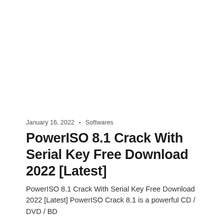January 16, 2022 • Softwares
PowerISO 8.1 Crack With Serial Key Free Download 2022 [Latest]
PowerISO 8.1 Crack With Serial Key Free Download 2022 [Latest] PowerISO Crack 8.1 is a powerful CD / DVD / BD